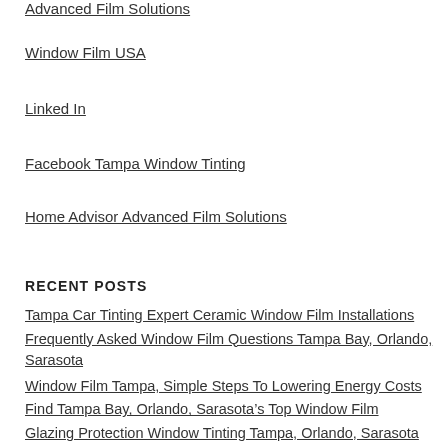Advanced Film Solutions
Window Film USA
Linked In
Facebook Tampa Window Tinting
Home Advisor Advanced Film Solutions
RECENT POSTS
Tampa Car Tinting Expert Ceramic Window Film Installations
Frequently Asked Window Film Questions Tampa Bay, Orlando, Sarasota
Window Film Tampa, Simple Steps To Lowering Energy Costs
Find Tampa Bay, Orlando, Sarasota’s Top Window Film
Glazing Protection Window Tinting Tampa, Orlando, Sarasota